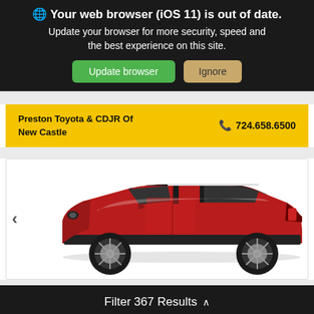🌐 Your web browser (iOS 11) is out of date. Update your browser for more security, speed and the best experience on this site. Update browser  Ignore
Preston Toyota & CDJR Of New Castle  📞 724.658.6500
[Figure (photo): Side profile of a red SUV (Volkswagen ID.4 style) on a white background, with a left navigation arrow visible]
Filter 367 Results ∧